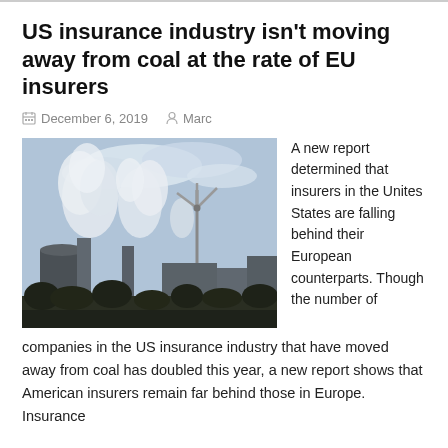US insurance industry isn't moving away from coal at the rate of EU insurers
December 6, 2019   Marc
[Figure (photo): Industrial scene showing factory smokestacks emitting large clouds of white smoke, a wind turbine, and industrial buildings in the background against a partly cloudy sky.]
A new report determined that insurers in the Unites States are falling behind their European counterparts. Though the number of companies in the US insurance industry that have moved away from coal has doubled this year, a new report shows that American insurers remain far behind those in Europe. Insurance